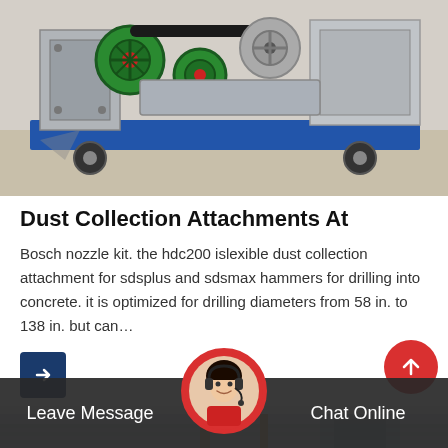[Figure (photo): Industrial machinery on a blue wheeled cart — pulleys, belts, green and gray mechanical components, photographed outdoors on concrete]
Dust Collection Attachments At
Bosch nozzle kit. the hdc200 islexible dust collection attachment for sdsplus and sdsmax hammers for drilling into concrete. it is optimized for drilling diameters from 58 in. to 138 in. but can…
[Figure (photo): Partial view of a second machinery/building photo at the bottom of the card]
Leave Message
Chat Online